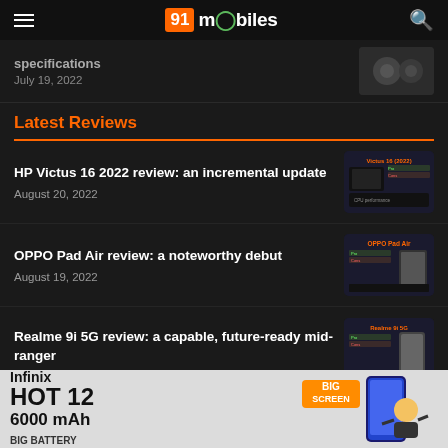91mobiles
specifications
July 19, 2022
Latest Reviews
HP Victus 16 2022 review: an incremental update
August 20, 2022
[Figure (screenshot): HP Victus 16 (2022) review thumbnail]
OPPO Pad Air review: a noteworthy debut
August 19, 2022
[Figure (screenshot): OPPO Pad Air review thumbnail]
Realme 9i 5G review: a capable, future-ready mid-ranger
[Figure (screenshot): Realme 9i 5G review thumbnail]
[Figure (photo): Infinix HOT 12 advertisement banner: 6000 mAh BIG BATTERY, BIG SCREEN]